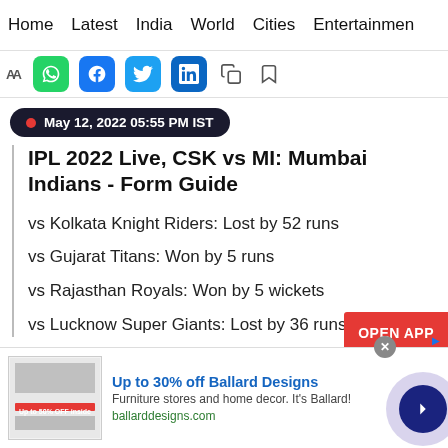Home  Latest  India  World  Cities  Entertainment
[Figure (screenshot): Social sharing toolbar with font-size toggle, WhatsApp, Facebook, Twitter, LinkedIn, copy, and bookmark icons]
May 12, 2022 05:55 PM IST
IPL 2022 Live, CSK vs MI: Mumbai Indians - Form Guide
vs Kolkata Knight Riders: Lost by 52 runs
vs Gujarat Titans: Won by 5 runs
vs Rajasthan Royals: Won by 5 wickets
vs Lucknow Super Giants: Lost by 36 runs
[Figure (infographic): OPEN APP button (red)]
[Figure (infographic): Ad banner: Up to 30% off Ballard Designs. Furniture stores and home decor. It's Ballard! ballarddesigns.com]